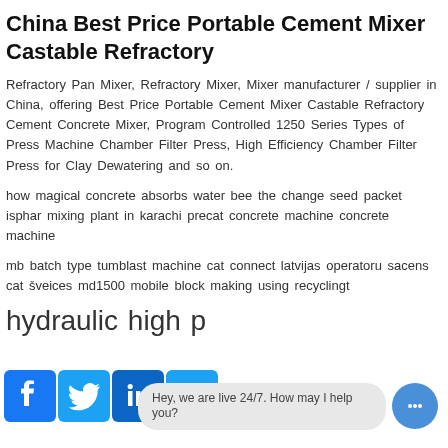China Best Price Portable Cement Mixer Castable Refractory
Refractory Pan Mixer, Refractory Mixer, Mixer manufacturer / supplier in China, offering Best Price Portable Cement Mixer Castable Refractory Cement Concrete Mixer, Program Controlled 1250 Series Types of Press Machine Chamber Filter Press, High Efficiency Chamber Filter Press for Clay Dewatering and so on.
how magical concrete absorbs water bee the change seed packet isphar mixing plant in karachi precat concrete machine concrete machine
mb batch type tumblast machine cat connect latvijas operatoru sacens cat šveices md1500 mobile block making using recyclingt
hydraulic high p m